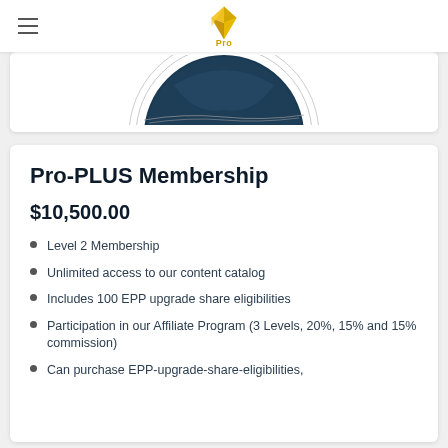Pro
[Figure (illustration): Partial circular image showing dark navy/teal graphic — top portion of a product or badge image with circular border lines]
Pro-PLUS Membership
$10,500.00
Level 2 Membership
Unlimited access to our content catalog
Includes 100 EPP upgrade share eligibilities
Participation in our Affiliate Program (3 Levels, 20%, 15% and 15% commission)
Can purchase EPP-upgrade-share-eligibilities,